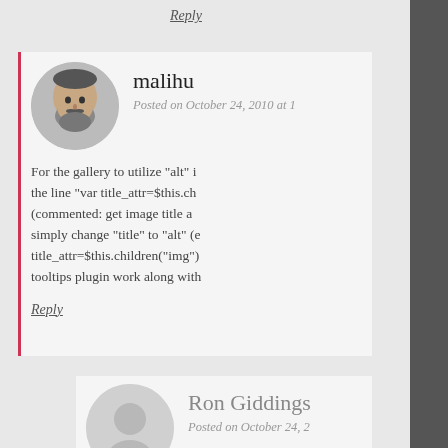Reply
malihu
Posted on October 24, 2010 at 1

For the gallery to utilize "alt" i the line "var title_attr=$this.ch (commented: get image title a simply change "title" to "alt" (e title_attr=$this.children("img") tooltips plugin work along with

Reply
Ron Giddings
Posted on October 24, 2

It works! I can now ha the 'Title' and no anno very much.
Reply